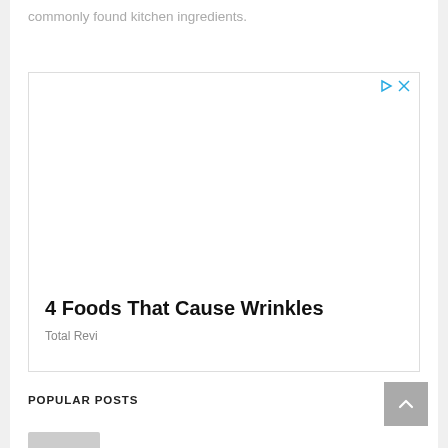commonly found kitchen ingredients.
[Figure (screenshot): Advertisement box with play and close icons. Contains headline '4 Foods That Cause Wrinkles' and source label 'Total Revi'.]
POPULAR POSTS